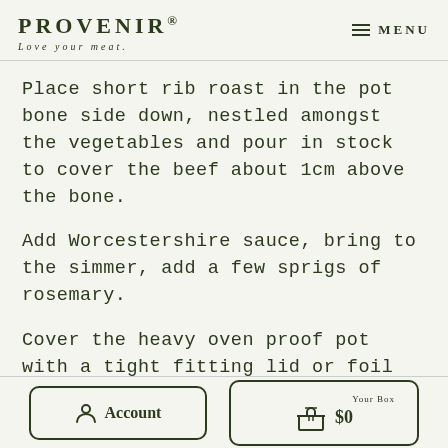PROVENIR — Love your meat. | MENU
Place short rib roast in the pot bone side down, nestled amongst the vegetables and pour in stock to cover the beef about 1cm above the bone.
Add Worcestershire sauce, bring to the simmer, add a few sprigs of rosemary.
Cover the heavy oven proof pot with a tight fitting lid or foil and place in the
Account | Your Box $0